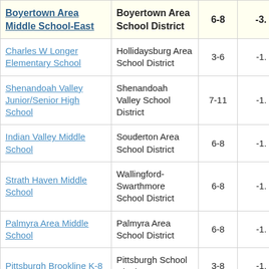| School | District | Grades | Score |
| --- | --- | --- | --- |
| Boyertown Area Middle School-East | Boyertown Area School District | 6-8 | -3. |
| Charles W Longer Elementary School | Hollidaysburg Area School District | 3-6 | -1. |
| Shenandoah Valley Junior/Senior High School | Shenandoah Valley School District | 7-11 | -1. |
| Indian Valley Middle School | Souderton Area School District | 6-8 | -1. |
| Strath Haven Middle School | Wallingford-Swarthmore School District | 6-8 | -1. |
| Palmyra Area Middle School | Palmyra Area School District | 6-8 | -1. |
| Pittsburgh Brookline K-8 | Pittsburgh School District | 3-8 | -1. |
| Saint Clair A... |  |  |  |